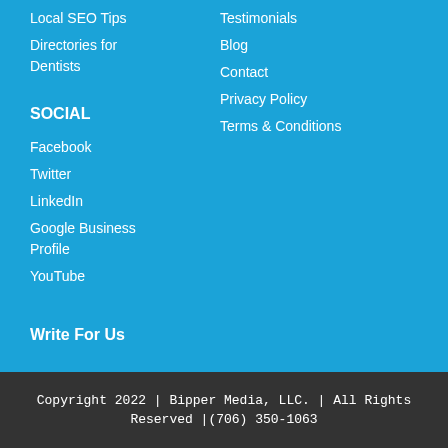Local SEO Tips
Directories for Dentists
SOCIAL
Facebook
Twitter
LinkedIn
Google Business Profile
YouTube
Write For Us
Testimonials
Blog
Contact
Privacy Policy
Terms & Conditions
Copyright 2022 | Bipper Media, LLC. | All Rights Reserved |(706) 350-1063